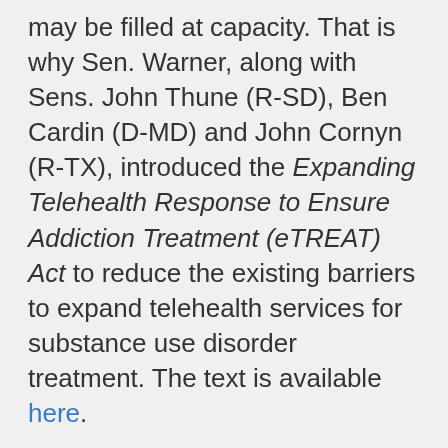may be filled at capacity. That is why Sen. Warner, along with Sens. John Thune (R-SD), Ben Cardin (D-MD) and John Cornyn (R-TX), introduced the Expanding Telehealth Response to Ensure Addiction Treatment (eTREAT) Act to reduce the existing barriers to expand telehealth services for substance use disorder treatment. The text is available here.
Virginia is a national leader in telemedicine. The University of Virginia (UVA) Center for Telehealth was launched in 1994 and has since grown into a national model for the health industry. Since then, UVA and its network of 152 telemedicine partners have enabled more than 51,000 patient